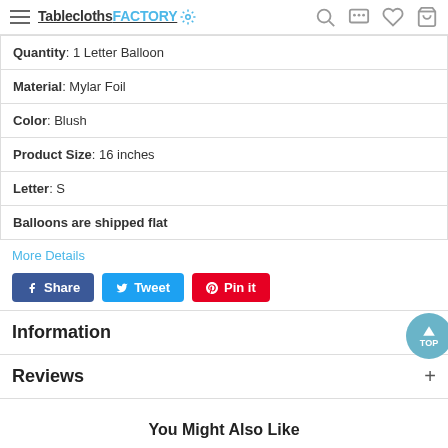TableclothsFACTORY
| Quantity: 1 Letter Balloon |
| Material: Mylar Foil |
| Color: Blush |
| Product Size: 16 inches |
| Letter: S |
| Balloons are shipped flat |
More Details
Share  Tweet  Pin it
Information
Reviews
You Might Also Like